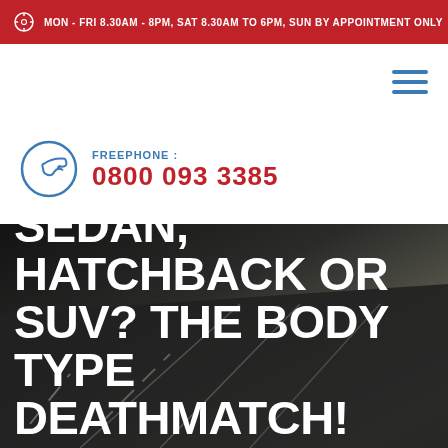MON - FRI 8.30AM - 8PM, SAT 8.30AM TO 6PM, SUN BY APPOINTMENT ONLY
FREEPHONE : 0800 093 3385
[Figure (photo): Aerial view of a road with lane markings, used as hero image background]
SEDAN, HATCHBACK OR SUV? THE BODY TYPE DEATHMATCH!